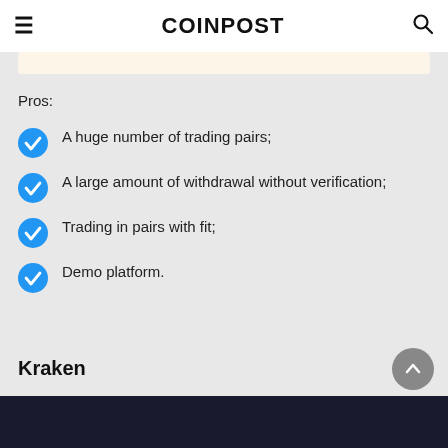COINPOST
Pros:
A huge number of trading pairs;
A large amount of withdrawal without verification;
Trading in pairs with fit;
Demo platform.
Kraken